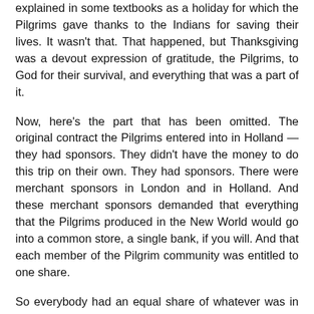explained in some textbooks as a holiday for which the Pilgrims gave thanks to the Indians for saving their lives. It wasn't that. That happened, but Thanksgiving was a devout expression of gratitude, the Pilgrims, to God for their survival, and everything that was a part of it.
Now, here's the part that has been omitted. The original contract the Pilgrims entered into in Holland — they had sponsors. They didn't have the money to do this trip on their own. They had sponsors. There were merchant sponsors in London and in Holland. And these merchant sponsors demanded that everything that the Pilgrims produced in the New World would go into a common store, a single bank, if you will. And that each member of the Pilgrim community was entitled to one share.
So everybody had an equal share of whatever was in that bank. All of the land they cleared, all of the houses they built belonged to that bank, to the community as well. And they were going to distribute it equally, because they were going to be fair. So all of the land that they cleared and all the houses they built belonged to everybody. Belonged to the community. Belonged to the bank, belonged to the